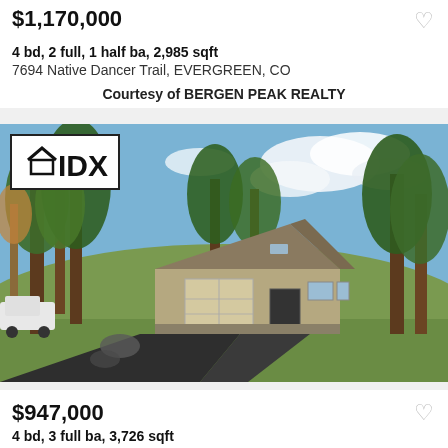$1,170,000
4 bd, 2 full, 1 half ba, 2,985 sqft
7694 Native Dancer Trail, EVERGREEN, CO
Courtesy of BERGEN PEAK REALTY
[Figure (photo): Exterior photo of a residential home in Evergreen, CO with pine trees, a paved driveway, and a two-car garage. IDX logo in top-left corner.]
$947,000
4 bd, 3 full ba, 3,726 sqft